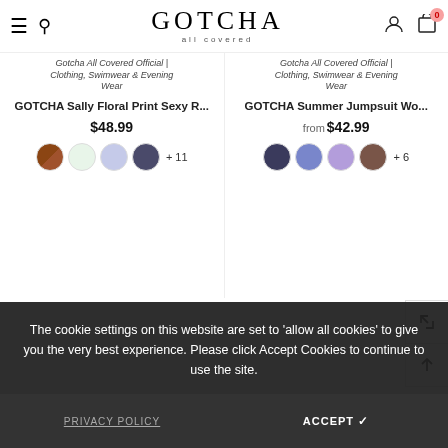GOTCHA all covered — navigation header with hamburger, search, logo, account, cart (0)
Gotcha All Covered Official | Clothing, Swimwear & Evening Wear
GOTCHA Sally Floral Print Sexy R...
$48.99
Gotcha All Covered Official | Clothing, Swimwear & Evening Wear
GOTCHA Summer Jumpsuit Wo...
from $42.99
+ 11
+ 6
The cookie settings on this website are set to 'allow all cookies' to give you the very best experience. Please click Accept Cookies to continue to use the site.
S  M  L  XL
SELECT OPTIONS
S  M  L  XL
SELECT OPTIONS
PRIVACY POLICY
ACCEPT ✓